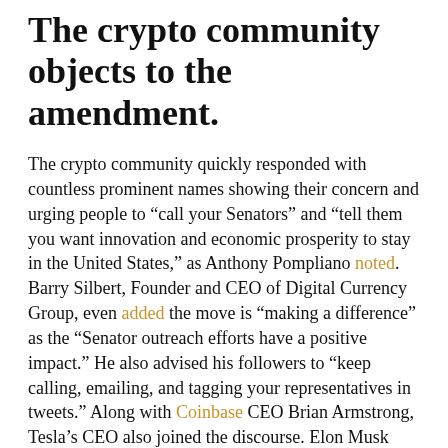The crypto community objects to the amendment.
The crypto community quickly responded with countless prominent names showing their concern and urging people to “call your Senators” and “tell them you want innovation and economic prosperity to stay in the United States,” as Anthony Pompliano noted. Barry Silbert, Founder and CEO of Digital Currency Group, even added the move is “making a difference” as the “Senator outreach efforts have a positive impact.” He also advised his followers to “keep calling, emailing, and tagging your representatives in tweets.” Along with Coinbase CEO Brian Armstrong, Tesla’s CEO also joined the discourse. Elon Musk agreed with Armstrong and noted that “this is not the time to pick technology winners or losers in cryptocurrency technology,” as there is “no crisis...